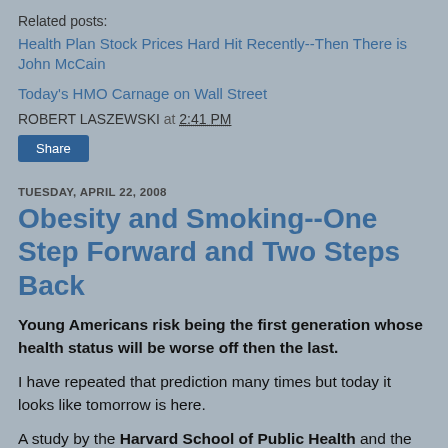Related posts:
Health Plan Stock Prices Hard Hit Recently--Then There is John McCain
Today's HMO Carnage on Wall Street
ROBERT LASZEWSKI at 2:41 PM
Share
TUESDAY, APRIL 22, 2008
Obesity and Smoking--One Step Forward and Two Steps Back
Young Americans risk being the first generation whose health status will be worse off then the last.
I have repeated that prediction many times but today it looks like tomorrow is here.
A study by the Harvard School of Public Health and the